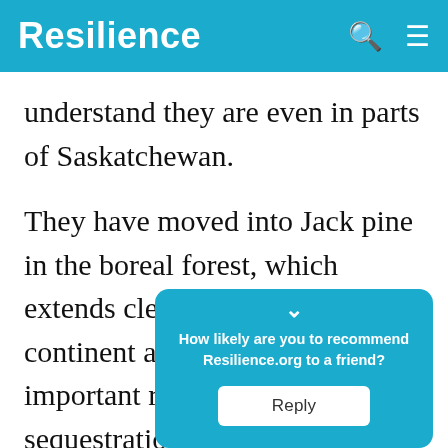Resilience
understand they are even in parts of Saskatchewan.
They have moved into Jack pine in the boreal forest, which extends clear across the continent and is such an important resource for carbon sequestration. Jack pine doesn’t have much of a defense agains… evolve… that it will…
How likely are you to recommend Resilience.org to a friend? Reply